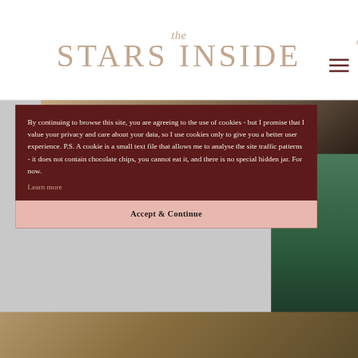the STARS INSIDE
[Figure (screenshot): Website screenshot showing cookie consent overlay on The Stars Inside website. Header with logo, background photos of hands and nature, dark maroon cookie consent box, and pink accept button.]
By continuing to browse this site, you are agreeing to the use of cookies - but I promise that I value your privacy and care about your data, so I use cookies only to give you a better user experience. P.S. A cookie is a small text file that allows me to analyse the site traffic patterns - it does not contain chocolate chips, you cannot eat it, and there is no special hidden jar. For now.
Learn more
Accept & Continue